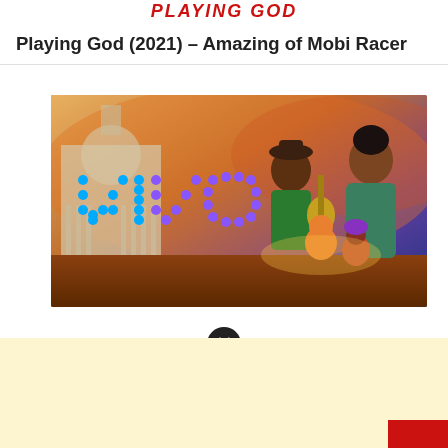PLAYING GOD
Playing God (2021) – Amazing of Mobi Racer
[Figure (photo): Animated movie poster for Vivo (2021) showing animated characters including a kinkajou and humans against a colorful background with the word VIVO in blue neon letters]
[Figure (other): Black circular close/dismiss button with white X symbol]